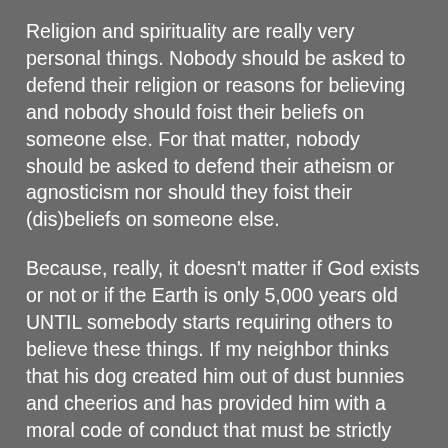Religion and spirituality are really very personal things. Nobody should be asked to defend their religion or reasons for believing and nobody should foist their beliefs on someone else. For that matter, nobody should be asked to defend their atheism or agnosticism nor should they foist their (dis)beliefs on someone else.
Because, really, it doesn't matter if God exists or not or if the Earth is only 5,000 years old UNTIL somebody starts requiring others to believe these things. If my neighbor thinks that his dog created him out of dust bunnies and cheerios and has provided him with a moral code of conduct that must be strictly adhered to, that's just fine. Really, it is. If that's what gets him through the day and as long as he's not knocking my door down to tell me about it, I couldn't care less. If my other neighbor has devoted his existence to empirically proving that God does not exist, will not exist, and has never existed, that's also quite allright with me. If his work gives him a reason to be a decent, productive